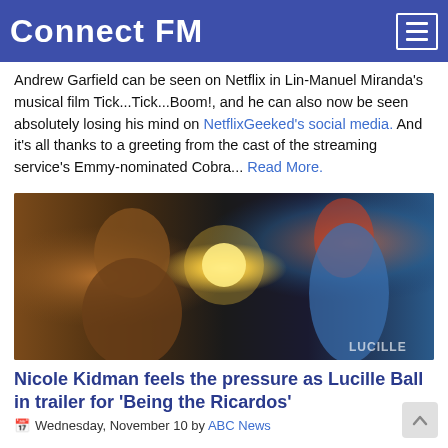Connect FM
Andrew Garfield can be seen on Netflix in Lin-Manuel Miranda's musical film Tick...Tick...Boom!, and he can also now be seen absolutely losing his mind on NetflixGeeked's social media. And it's all thanks to a greeting from the cast of the streaming service's Emmy-nominated Cobra... Read More.
[Figure (photo): Two people in a dramatic, warmly lit scene. One person in a tan/brown jacket faces a red-haired person in a blue outfit. A bright light source glows in the background. 'LUCILLE' watermark visible in bottom-right corner.]
Nicole Kidman feels the pressure as Lucille Ball in trailer for 'Being the Ricardos'
Wednesday, November 10 by ABC News
Amazon Studios has released the full trailer for its upcoming film about Lucille Ball and Desi Arnaz, Being the Ricardos. Nicole Kidman plays the famous comedian and fellow Co...